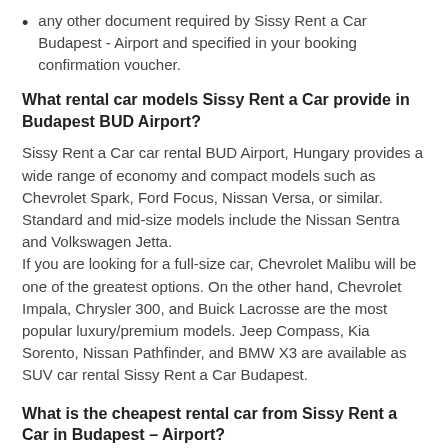any other document required by Sissy Rent a Car Budapest - Airport and specified in your booking confirmation voucher.
What rental car models Sissy Rent a Car provide in Budapest BUD Airport?
Sissy Rent a Car car rental BUD Airport, Hungary provides a wide range of economy and compact models such as Chevrolet Spark, Ford Focus, Nissan Versa, or similar. Standard and mid-size models include the Nissan Sentra and Volkswagen Jetta.
If you are looking for a full-size car, Chevrolet Malibu will be one of the greatest options. On the other hand, Chevrolet Impala, Chrysler 300, and Buick Lacrosse are the most popular luxury/premium models. Jeep Compass, Kia Sorento, Nissan Pathfinder, and BMW X3 are available as SUV car rental Sissy Rent a Car Budapest.
What is the cheapest rental car from Sissy Rent a Car in Budapest – Airport?
Whether you are in a budget-friendly rental or luxury with Sissy...